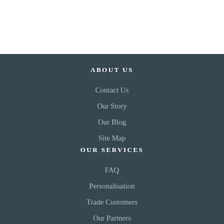ABOUT US
Contact Us
Our Story
Our Blog
Site Map
OUR SERVICES
FAQ
Personalisation
Trade Customers
Our Partners